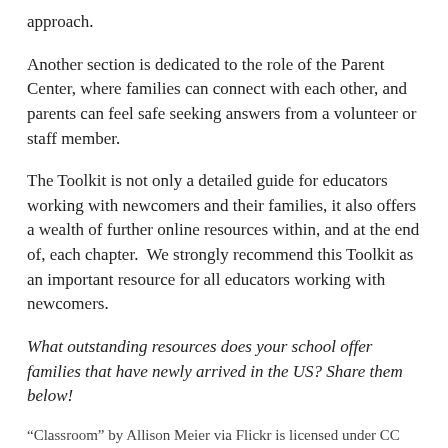approach.
Another section is dedicated to the role of the Parent Center, where families can connect with each other, and parents can feel safe seeking answers from a volunteer or staff member.
The Toolkit is not only a detailed guide for educators working with newcomers and their families, it also offers a wealth of further online resources within, and at the end of, each chapter.  We strongly recommend this Toolkit as an important resource for all educators working with newcomers.
What outstanding resources does your school offer families that have newly arrived in the US? Share them below!
“Classroom” by Allison Meier via Flickr is licensed under CC BY-SA 2.0 https://flic.kr/p/5KRnrx
We’re linking up with other educational bloggers to bring